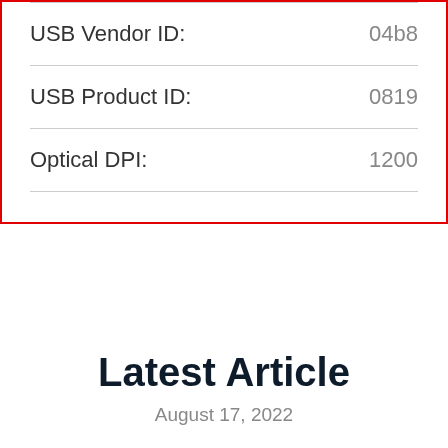| Specification | Value |
| --- | --- |
| USB Vendor ID: | 04b8 |
| USB Product ID: | 0819 |
| Optical DPI: | 1200 |
Latest Article
August 17, 2022